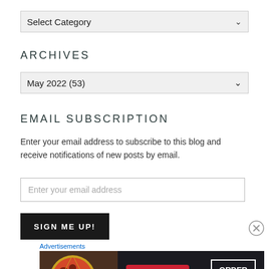Select Category
ARCHIVES
May 2022  (53)
EMAIL SUBSCRIPTION
Enter your email address to subscribe to this blog and receive notifications of new posts by email.
Enter your email address
SIGN ME UP!
Advertisements
[Figure (other): Seamless food delivery advertisement banner showing pizza, Seamless logo in red, and ORDER NOW button]